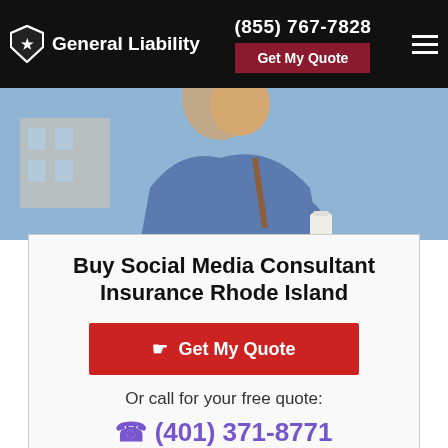General Liability | (855) 767-7828 | Get My Quote
[Figure (photo): Young smiling man in denim jacket carrying a bag and coffee cup, outdoors with blue sky background]
Buy Social Media Consultant Insurance Rhode Island
Get My Quote
Or call for your free quote:
(401) 371-8771